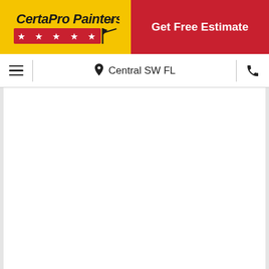[Figure (logo): CertaPro Painters logo on yellow background with red star banner and paintbrush icon]
Get Free Estimate
Central SW FL